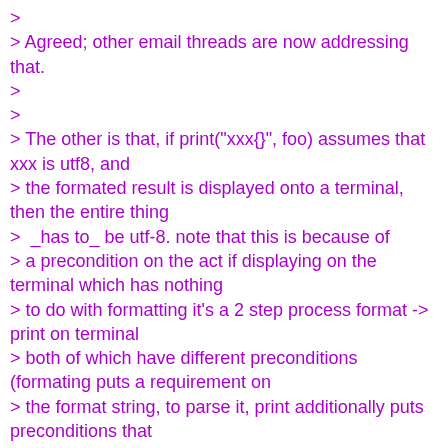>
> Agreed; other email threads are now addressing that.
>
>
> The other is that, if print("xxx{}", foo) assumes that xxx is utf8, and
> the formated result is displayed onto a terminal, then the entire thing
>  _has to_ be utf-8. note that this is because of
> a precondition on the act if displaying on the terminal which has nothing
> to do with formatting it's a 2 step process format -> print on terminal
> both of which have different preconditions (formating puts a requirement on
> the format string, to parse it, print additionally puts preconditions that
> the resulting thing will be utf8 such that individual arguments have to be